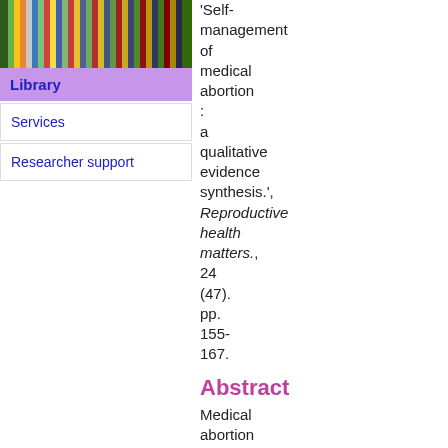[Figure (photo): Row of colorful books/spines on a shelf viewed from above or side, used as library header image]
Library
Services
Researcher support
'Self-management of medical abortion: a qualitative evidence synthesis.', Reproductive health matters., 24 (47). pp. 155-167.
Abstract
Medical abortion